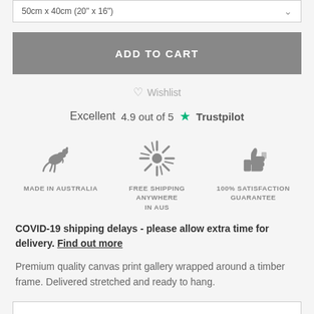50cm x 40cm (20" x 16")
ADD TO CART
♡ Wishlist
Excellent  4.9 out of 5  ★ Trustpilot
[Figure (infographic): Three icons: kangaroo (Made in Australia), sunburst/loading spinner (Free Shipping Anywhere in Aus), thumbs up (100% Satisfaction Guarantee)]
COVID-19 shipping delays - please allow extra time for delivery. Find out more
Premium quality canvas print gallery wrapped around a timber frame. Delivered stretched and ready to hang.